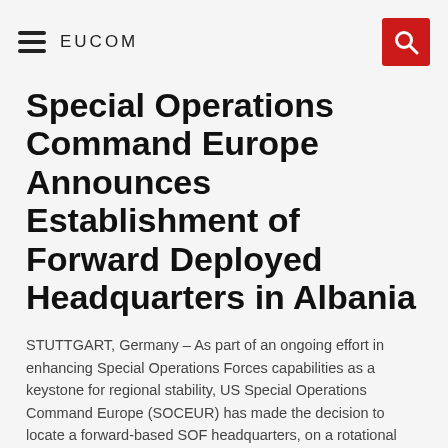EUCOM
Special Operations Command Europe Announces Establishment of Forward Deployed Headquarters in Albania
STUTTGART, Germany – As part of an ongoing effort in enhancing Special Operations Forces capabilities as a keystone for regional stability, US Special Operations Command Europe (SOCEUR) has made the decision to locate a forward-based SOF headquarters, on a rotational basis, in Albania. The location of the forward HQ in Albania will provide increased interoperability with